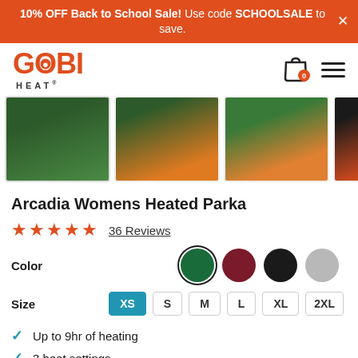10% OFF Back to School Sale! Use code SCHOOLSALE to save.
[Figure (logo): Gobi Heat logo in orange/red]
[Figure (photo): Product thumbnail images of Arcadia Womens Heated Parka in various views]
Arcadia Womens Heated Parka
★★★★★  36 Reviews
Color (swatches: green, maroon, black, gray)
Size: XS S M L XL 2XL
Up to 9hr of heating
3 heat settings